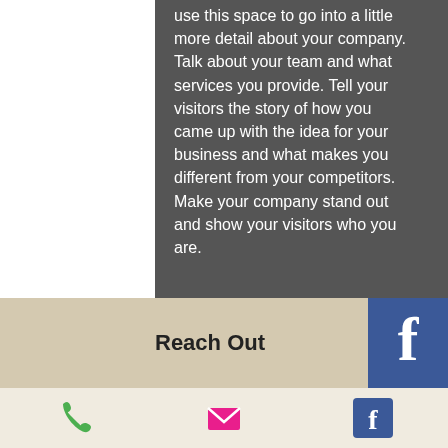use this space to go into a little more detail about your company. Talk about your team and what services you provide. Tell your visitors the story of how you came up with the idea for your business and what makes you different from your competitors. Make your company stand out and show your visitors who you are.
[Figure (illustration): A large golden/yellow circle button with the text VOLUNTEER in white bold capital letters, on a dark grey background with a grey scroll-to-top arrow button in the bottom right]
Reach Out
[Figure (logo): Facebook logo icon in blue square]
[Figure (illustration): Green phone icon, pink/red email envelope icon, and blue Facebook icon in a contact bar]